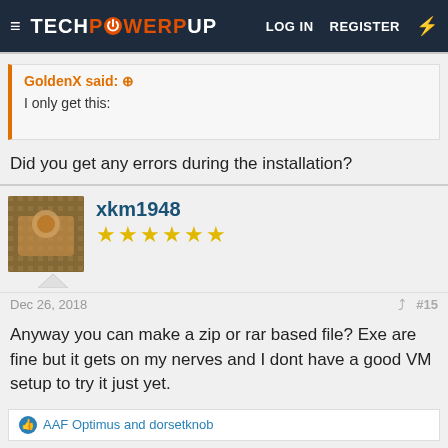TECHPOWERUP | LOG IN | REGISTER
GoldenX said: ↑
I only get this:
Did you get any errors during the installation?
xkm1948
★★★★★★
Dec 26, 2018 #15
Anyway you can make a zip or rar based file? Exe are fine but it gets on my nerves and I dont have a good VM setup to try it just yet.
AAF Optimus and dorsetknob